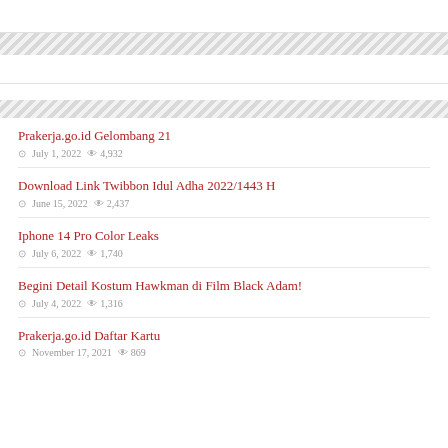Prakerja.go.id Gelombang 21 | July 1, 2022 | 4,932 views
Download Link Twibbon Idul Adha 2022/1443 H | June 15, 2022 | 2,437 views
Iphone 14 Pro Color Leaks | July 6, 2022 | 1,740 views
Begini Detail Kostum Hawkman di Film Black Adam! | July 4, 2022 | 1,316 views
Prakerja.go.id Daftar Kartu | November 17, 2021 | 869 views